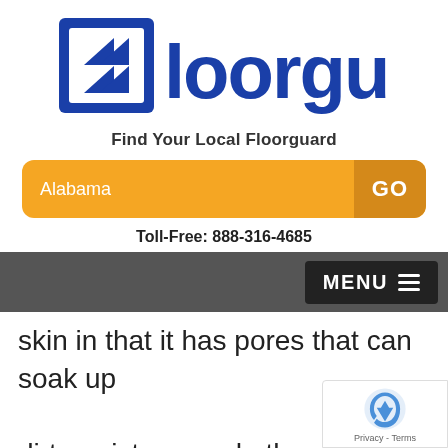[Figure (logo): Floorguard logo with blue double-arrow icon on the left and 'loorguard' text in blue bold font]
Find Your Local Floorguard
[Figure (screenshot): Orange search bar with 'Alabama' text on left and dark orange 'GO' button on right]
Toll-Free: 888-316-4685
[Figure (screenshot): Dark gray navigation bar with MENU hamburger button on the right]
skin in that it has pores that can soak up dirt, moisture, and other particles. Because of this, concrete is also immensely prone to staining. This me
[Figure (logo): Google reCAPTCHA badge with blue recaptcha icon and Privacy - Terms text]